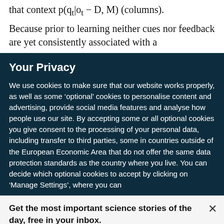that context p(qt|ot − D, M) (columns).
Because prior to learning neither cues nor feedback are yet consistently associated with a
Your Privacy
We use cookies to make sure that our website works properly, as well as some ‘optional’ cookies to personalise content and advertising, provide social media features and analyse how people use our site. By accepting some or all optional cookies you give consent to the processing of your personal data, including transfer to third parties, some in countries outside of the European Economic Area that do not offer the same data protection standards as the country where you live. You can decide which optional cookies to accept by clicking on ‘Manage Settings’, where you can
Get the most important science stories of the day, free in your inbox.
Sign up for Nature Briefing